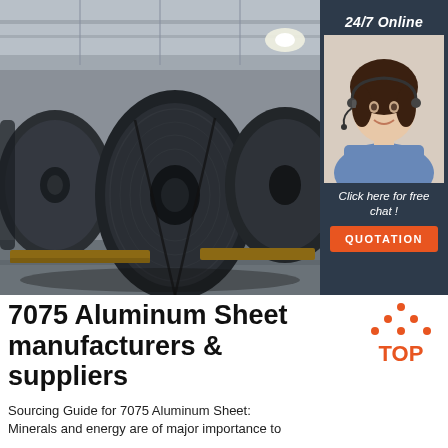[Figure (photo): Industrial warehouse with large rolled metal coils (aluminum or steel) stacked on wooden pallets on a concrete floor. High ceiling with metal framework visible. Dark metallic coils are the main subject.]
[Figure (photo): Customer service agent — woman with dark hair wearing a headset, smiling, wearing a blue shirt. Sidebar advertisement banner with dark navy background reading '24/7 Online', 'Click here for free chat!', and an orange 'QUOTATION' button.]
7075 Aluminum Sheet manufacturers & suppliers
[Figure (logo): Orange and white 'TOP' logo with dots forming a triangle above the text]
Sourcing Guide for 7075 Aluminum Sheet: Minerals and energy are of major importance to